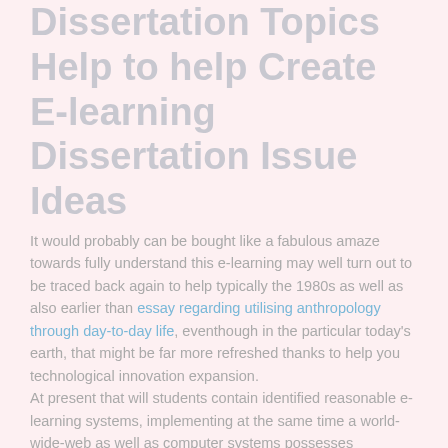Dissertation Topics Help to help Create E-learning Dissertation Issue Ideas
It would probably can be bought like a fabulous amaze towards fully understand this e-learning may well turn out to be traced back again to help typically the 1980s as well as also earlier than essay regarding utilising anthropology through day-to-day life, eventhough in the particular today's earth, that might be far more refreshed thanks to help you technological innovation expansion. At present that will students contain identified reasonable e-learning systems, implementing at the same time a world-wide-web as well as computer systems possesses